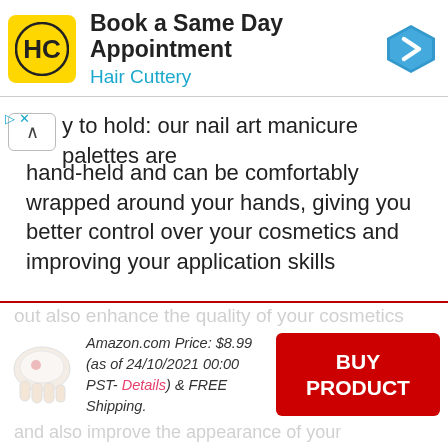[Figure (screenshot): Hair Cuttery advertisement banner with yellow logo, 'Book a Same Day Appointment' heading, and blue diamond arrow icon]
y to hold: our nail art manicure palettes are hand-held and can be comfortably wrapped around your hands, giving you better control over your cosmetics and improving your application skills
Wide usages: you can apply the clear makeup palette in the mixed foundation, manicure oil, lip glaze, cream, liquid, and other cosmetics; They can not only keep hands clean during make-up
Amazon.com Price: $8.99 (as of 24/10/2021 00:00 PST- Details) & FREE Shipping.
[Figure (photo): Hand holding a small clear makeup palette product]
BUY PRODUCT